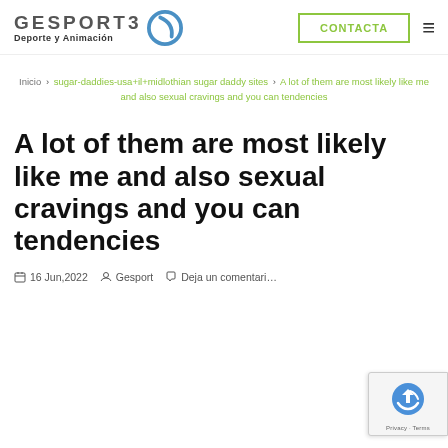[Figure (logo): Gesport3 Deporte y Animación logo with circular icon]
CONTACTA
Inicio > sugar-daddies-usa+il+midlothian sugar daddy sites > A lot of them are most likely like me and also sexual cravings and you can tendencies
A lot of them are most likely like me and also sexual cravings and you can tendencies
16 Jun,2022  Gesport  Deja un comentari...